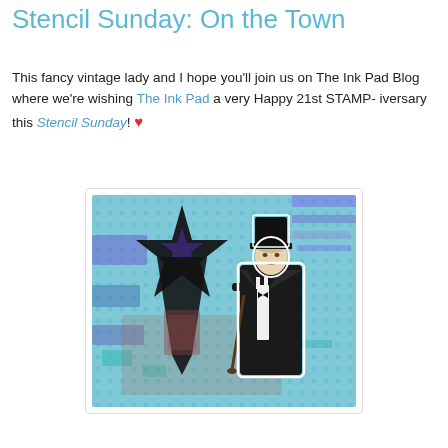Stencil Sunday: On the Town
This fancy vintage lady and I hope you'll join us on The Ink Pad Blog where we're wishing The Ink Pad a very Happy 21st STAMP-iversary this Stencil Sunday! ♥
[Figure (photo): A handmade craft card featuring a vintage gentleman in a tuxedo and top hat standing next to a large black star shape on a blue patterned mixed-media background with purple text and teal dot stencil patterns.]